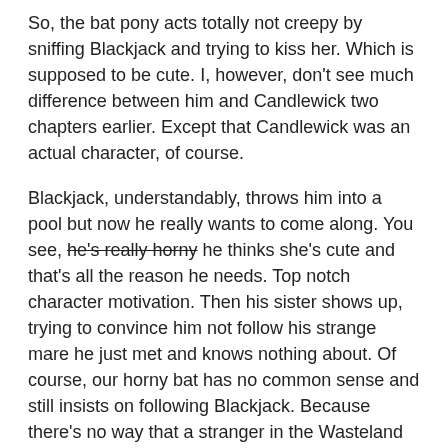So, the bat pony acts totally not creepy by sniffing Blackjack and trying to kiss her. Which is supposed to be cute. I, however, don't see much difference between him and Candlewick two chapters earlier. Except that Candlewick was an actual character, of course.
Blackjack, understandably, throws him into a pool but now he really wants to come along. You see, he's really horny he thinks she's cute and that's all the reason he needs. Top notch character motivation. Then his sister shows up, trying to convince him not follow his strange mare he just met and knows nothing about. Of course, our horny bat has no common sense and still insists on following Blackjack. Because there's no way that a stranger in the Wasteland could be dangerous or anything. At which point his sister just gives up. I mean she tried really hard to change his mind for about a half-a-minute or so. What more can you expect?
*